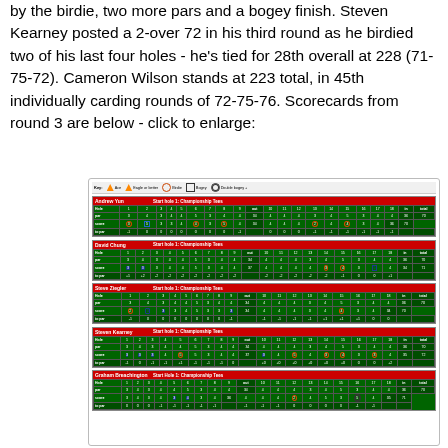by the birdie, two more pars and a bogey finish. Steven Kearney posted a 2-over 72 in his third round as he birdied two of his last four holes - he's tied for 28th overall at 228 (71-75-72). Cameron Wilson stands at 223 total, in 45th individually carding rounds of 72-75-76. Scorecards from round 3 are below - click to enlarge:
[Figure (other): Golf scorecards for round 3, showing hole-by-hole scores for players: Andrew Yun, David Chung, Steve Ziegler, Steven Kearney, and Graham Breachington. Each scorecard shows par, score, and to-par for 18 holes with Start hole 1: Championship Tees.]